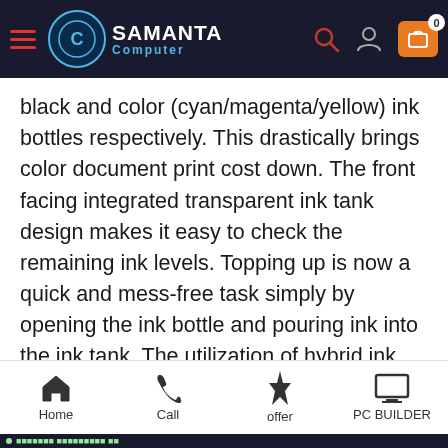Samanta Computer — navigation header with logo, search, user, and cart icons
black and color (cyan/magenta/yellow) ink bottles respectively. This drastically brings color document print cost down. The front facing integrated transparent ink tank design makes it easy to check the remaining ink levels. Topping up is now a quick and mess-free task simply by opening the ink bottle and pouring ink into the ink tank. The utilization of hybrid ink system and FINE print head guarantees a stable and reliable high quality printing performance, realizing prints with crisp, sharp black
Home | Call | offer | PC BUILDER